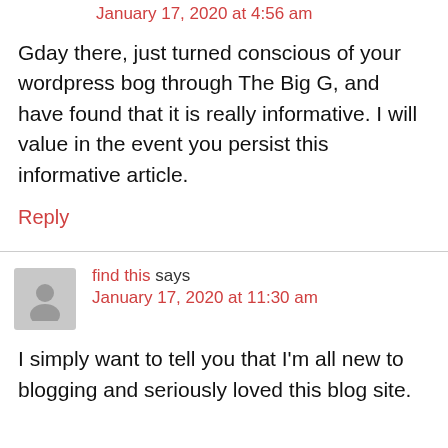January 17, 2020 at 4:56 am
Gday there, just turned conscious of your wordpress bog through The Big G, and have found that it is really informative. I will value in the event you persist this informative article.
Reply
find this says
January 17, 2020 at 11:30 am
I simply want to tell you that I'm all new to blogging and seriously loved this blog site.